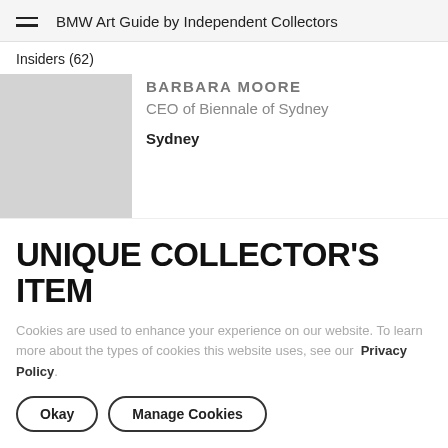BMW Art Guide by Independent Collectors
Insiders (62)
[Figure (photo): Placeholder thumbnail image for Barbara Moore, light grey rectangle]
BARBARA MOORE
CEO of Biennale of Sydney
Sydney
UNIQUE COLLECTOR'S ITEM
Cookies are used to enhance your experience on our website. To learn more about the types of cookies this website uses, see our Privacy Policy.
Okay
Manage Cookies